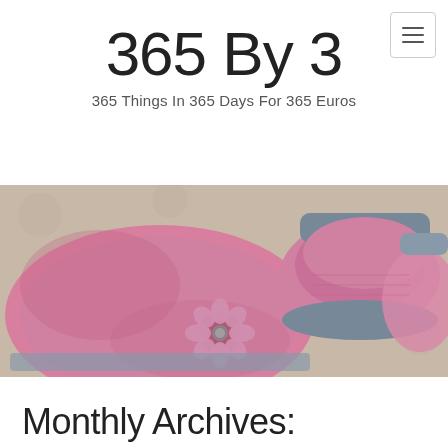≡ (hamburger menu button)
365 By 3
365 Things In 365 Days For 365 Euros
[Figure (photo): A pink crocheted baby hat with a flower decoration and pink and grey crocheted baby booties, displayed on a polka-dot background.]
Monthly Archives: December 2014